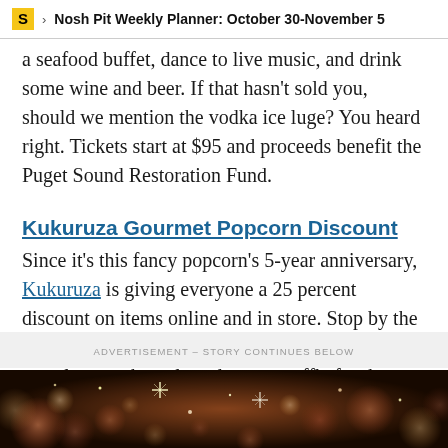Nosh Pit Weekly Planner: October 30-November 5
a seafood buffet, dance to live music, and drink some wine and beer. If that hasn't sold you, should we mention the vodka ice luge? You heard right. Tickets start at $95 and proceeds benefit the Puget Sound Restoration Fund.
Kukuruza Gourmet Popcorn Discount
Since it's this fancy popcorn's 5-year anniversary, Kukuruza is giving everyone a 25 percent discount on items online and in store. Stop by the Ballard and Bellevue locations on this day to sample some kernels and enter a raffle for the chance to win a two-gallon popcorn tin.
ADVERTISEMENT – STORY CONTINUES BELOW
[Figure (photo): Decorative bokeh background image with warm lights and sparkles in red, pink, and gold tones at the bottom of the page.]